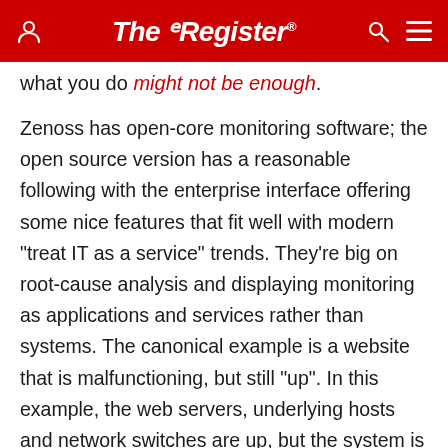The Register
what you do might not be enough.
Zenoss has open-core monitoring software; the open source version has a reasonable following with the enterprise interface offering some nice features that fit well with modern "treat IT as a service" trends. They're big on root-cause analysis and displaying monitoring as applications and services rather than systems. The canonical example is a website that is malfunctioning, but still "up". In this example, the web servers, underlying hosts and network switches are up, but the system is non-operational because the SQL server bought it. Zenoss's kit analyses the failures then offers up a list of possible sources for the error, with a likelihood of that specific source being the cause